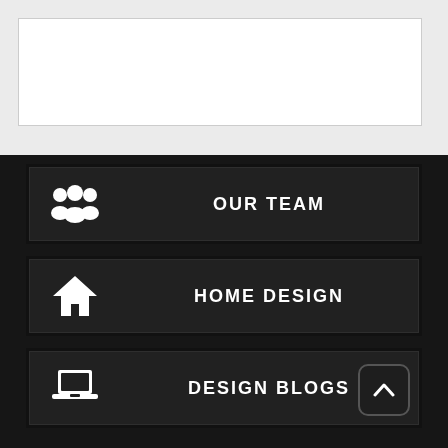[Figure (screenshot): White/light gray area at top with a white bordered box, representing a content placeholder region]
OUR TEAM
HOME DESIGN
DESIGN BLOGS